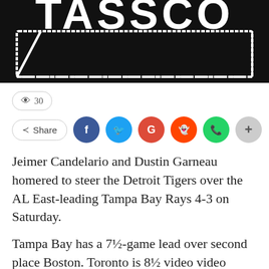[Figure (logo): TASSCO logo — white bold text on black background with white chalk-style border box]
👁 30
Share (Facebook, Twitter, Google+, Reddit, WhatsApp, more)
Jeimer Candelario and Dustin Garneau homered to steer the Detroit Tigers over the AL East-leading Tampa Bay Rays 4-3 on Saturday.
Tampa Bay has a 7½-game lead over second place Boston. Toronto is 8½ video video video games as